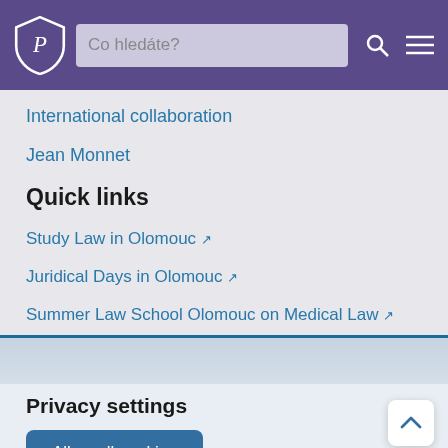Co hledáte?
International collaboration
Jean Monnet
Quick links
Study Law in Olomouc ↗
Juridical Days in Olomouc ↗
Summer Law School Olomouc on Medical Law ↗
Privacy settings
Allow all cookies
More...
and they may be subsequently used by FI_UP for